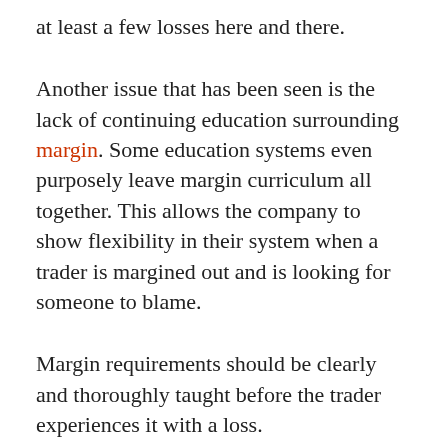at least a few losses here and there.
Another issue that has been seen is the lack of continuing education surrounding margin. Some education systems even purposely leave margin curriculum all together. This allows the company to show flexibility in their system when a trader is margined out and is looking for someone to blame.
Margin requirements should be clearly and thoroughly taught before the trader experiences it with a loss.
A good way to spot margin issues with a trading system is to make sure margin requirements match up with stop loss